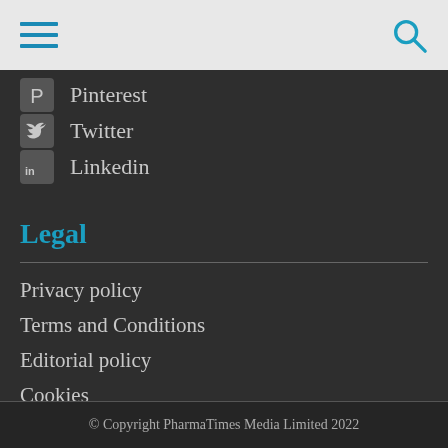[Navigation bar with hamburger menu and search icon]
Pinterest
Twitter
Linkedin
Legal
Privacy policy
Terms and Conditions
Editorial policy
Cookies
RSS – feed subscriptions
© Copyright PharmaTimes Media Limited 2022